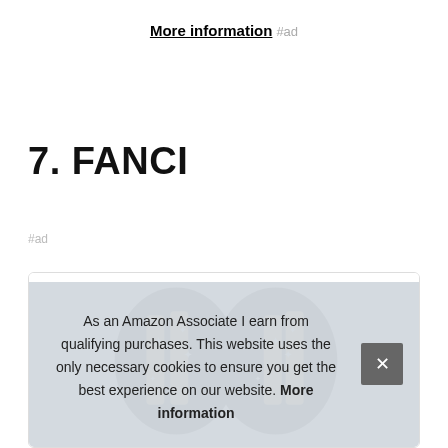More information #ad
7. FANCI
#ad
[Figure (photo): Product photo of FANCI shoes - black and gold strappy heels with star/sparkle pattern]
As an Amazon Associate I earn from qualifying purchases. This website uses the only necessary cookies to ensure you get the best experience on our website. More information